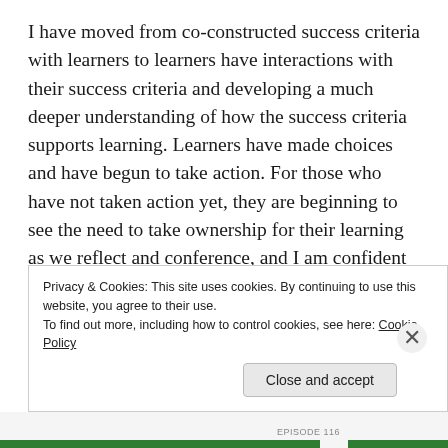I have moved from co-constructed success criteria with learners to learners have interactions with their success criteria and developing a much deeper understanding of how the success criteria supports learning. Learners have made choices and have begun to take action. For those who have not taken action yet, they are beginning to see the need to take ownership for their learning as we reflect and conference, and I am confident they will when they are ready. In addition to engaging in goal setting, learners have been learning about goal setting. With lots of opportunities to choose act and reflect
Privacy & Cookies: This site uses cookies. By continuing to use this website, you agree to their use.
To find out more, including how to control cookies, see here: Cookie Policy
Close and accept